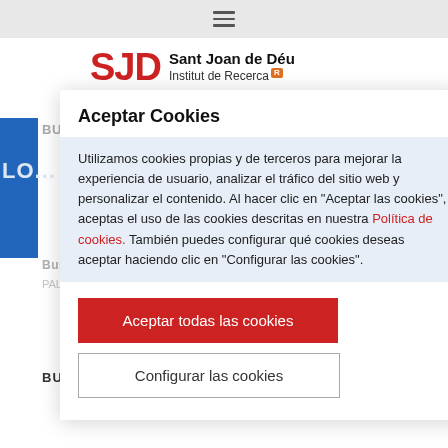☰ (hamburger menu icon)
[Figure (logo): SJD Sant Joan de Déu Institut de Recerca logo with red SJD letters and orange R badge]
Aceptar Cookies
Utilizamos cookies propias y de terceros para mejorar la experiencia de usuario, analizar el tráfico del sitio web y personalizar el contenido. Al hacer clic en "Aceptar las cookies", aceptas el uso de las cookies descritas en nuestra Política de cookies. También puedes configurar qué cookies deseas aceptar haciendo clic en "Configurar las cookies".
Aceptar todas las cookies
Configurar las cookies
BUSCADOR POR AÑO